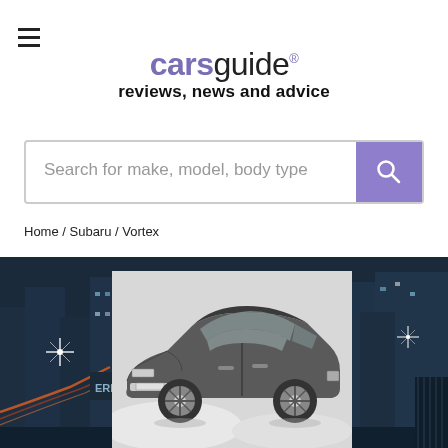carsguide reviews, news and advice
Search for make, model, body type
Home / Subaru / Vortex
[Figure (photo): Hero image showing a city nightscape background with light trails, and overlaid black-and-white photo of a Subaru Vortex coupe car]